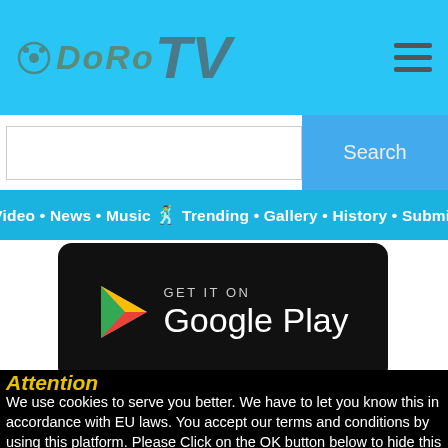DORO TV
[Figure (screenshot): Search bar with Search button]
Video • News • Music 🕺 Trending • Gallery • History • Submit
[Figure (logo): GET IT ON Google Play button/badge]
Attention
We use cookies to serve you better. We have to let you know this in accordance with EU laws. You accept our terms and conditions by using this platform. Please Click on the OK button below to hide this message
OK, I Accept